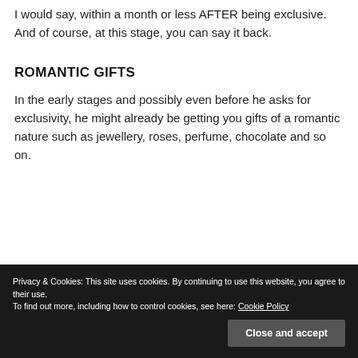I would say, within a month or less AFTER being exclusive. And of course, at this stage, you can say it back.
ROMANTIC GIFTS
In the early stages and possibly even before he asks for exclusivity, he might already be getting you gifts of a romantic nature such as jewellery, roses, perfume, chocolate and so on.
Privacy & Cookies: This site uses cookies. By continuing to use this website, you agree to their use.
To find out more, including how to control cookies, see here: Cookie Policy